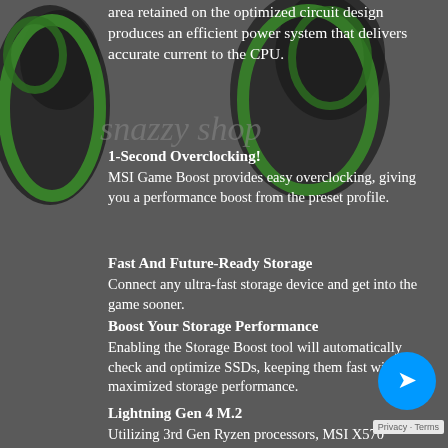[Figure (illustration): MSI SS logo watermark with green and black swirling design in upper-left area, with 'snazzy shop' watermark text overlaid]
area retained on the optimized circuit design produces an efficient power system that delivers accurate current to the CPU.
1-Second Overclocking!
MSI Game Boost provides easy overclocking, giving you a performance boost from the preset profile.
Fast And Future-Ready Storage
Connect any ultra-fast storage device and get into the game sooner.
Boost Your Storage Performance
Enabling the Storage Boost tool will automatically check and optimize SSDs, keeping them fast with maximized storage performance.
Lightning Gen 4 M.2
Utilizing 3rd Gen Ryzen processors, MSI X570
Privacy · Terms